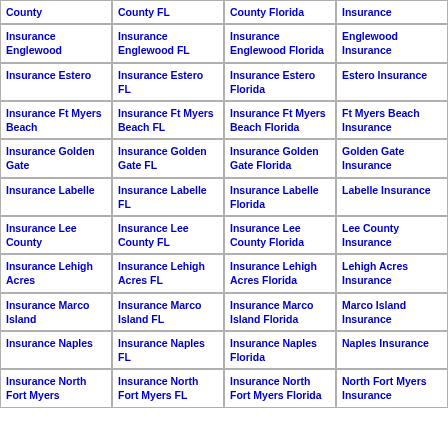| County | County FL | County Florida | Insurance |
| Insurance Englewood | Insurance Englewood FL | Insurance Englewood Florida | Englewood Insurance |
| Insurance Estero | Insurance Estero FL | Insurance Estero Florida | Estero Insurance |
| Insurance Ft Myers Beach | Insurance Ft Myers Beach FL | Insurance Ft Myers Beach Florida | Ft Myers Beach Insurance |
| Insurance Golden Gate | Insurance Golden Gate FL | Insurance Golden Gate Florida | Golden Gate Insurance |
| Insurance Labelle | Insurance Labelle FL | Insurance Labelle Florida | Labelle Insurance |
| Insurance Lee County | Insurance Lee County FL | Insurance Lee County Florida | Lee County Insurance |
| Insurance Lehigh Acres | Insurance Lehigh Acres FL | Insurance Lehigh Acres Florida | Lehigh Acres Insurance |
| Insurance Marco Island | Insurance Marco Island FL | Insurance Marco Island Florida | Marco Island Insurance |
| Insurance Naples | Insurance Naples FL | Insurance Naples Florida | Naples Insurance |
| Insurance North Fort Myers | Insurance North Fort Myers FL | Insurance North Fort Myers Florida | North Fort Myers Insurance |